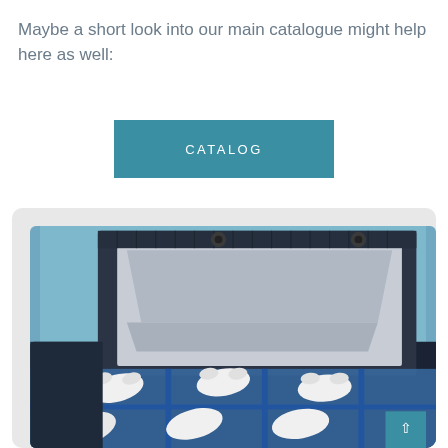Maybe a short look into our main catalogue might help here as well:
[Figure (other): Teal/blue rectangular button labeled CATALOG]
[Figure (photo): Open industrial plastic case (dark navy/black) with blue foam inserts holding white component parts, lid open showing grey interior panel, photographed on light blue background]